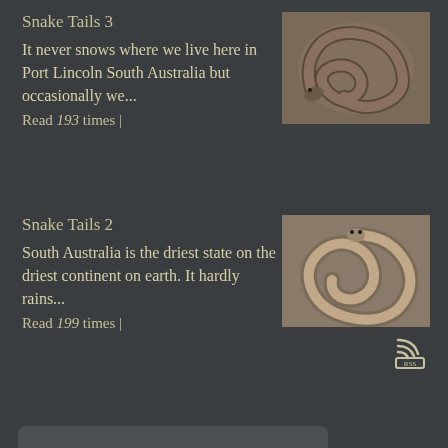Snake Tails 3
It never snows where we live here in Port Lincoln South Australia but occasionally we...
Read 193 times |
[Figure (photo): A coiled brown snake photographed on sandy/rocky ground, viewed from above]
Snake Tails 2
South Australia is the driest state on the driest continent on earth. It hardly rains...
Read 199 times |
[Figure (photo): A coiled brown snake photographed on rocky/leafy ground, viewed from above]
[Figure (other): RSS feed icon - signal waves above a small square]